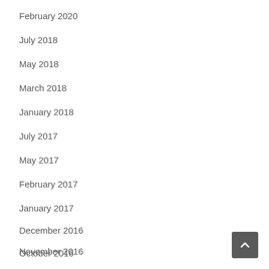February 2020
July 2018
May 2018
March 2018
January 2018
July 2017
May 2017
February 2017
January 2017
December 2016
November 2016
October 2016